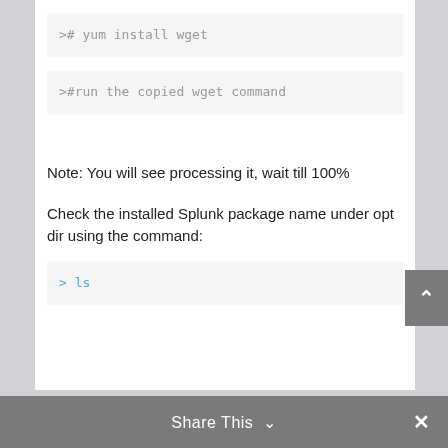># yum install wget
>#run the copied wget command
Note: You will see processing it, wait till 100%
Check the installed Splunk package name under opt dir using the command:
> ls
Share This ∨  ×